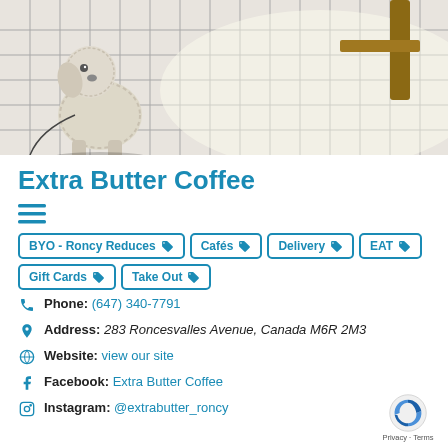[Figure (photo): Outdoor patio scene with a fluffy light-colored dog sitting on tiled pavement, with a chair visible in the background]
Extra Butter Coffee
≡
BYO - Roncy Reduces 🏷  Cafés 🏷  Delivery 🏷  EAT 🏷  Gift Cards 🏷  Take Out 🏷
Phone: (647) 340-7791
Address: 283 Roncesvalles Avenue, Canada M6R 2M3
Website: view our site
Facebook: Extra Butter Coffee
Instagram: @extrabutter_roncy